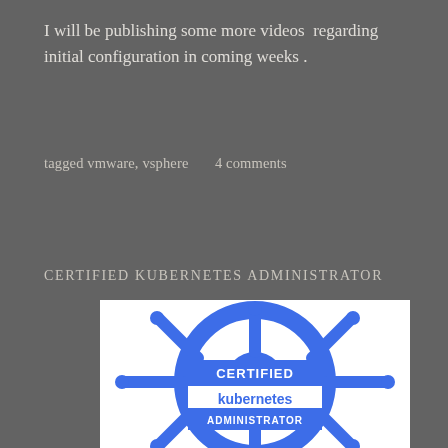I will be publishing some more videos  regarding initial configuration in coming weeks .
tagged vmware, vsphere       4 comments
CERTIFIED KUBERNETES ADMINISTRATOR
[Figure (logo): Certified Kubernetes Administrator logo — a ship's helm wheel in blue on white background with text 'CERTIFIED kubernetes ADMINISTRATOR']